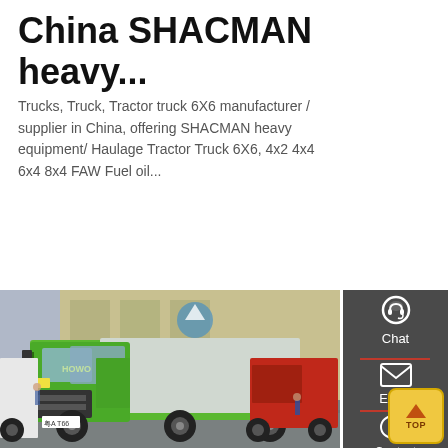China SHACMAN heavy...
Trucks, Truck, Tractor truck 6X6 manufacturer / supplier in China, offering SHACMAN heavy equipment/ Haulage Tractor Truck 6X6, 4x2 4x4 6x4 8x4 FAW Fuel oil...
Get a Quote
[Figure (photo): Green HOWO heavy-duty dump truck at an outdoor exhibition, with other trucks visible in the background]
Chat
Email
Contact
TOP